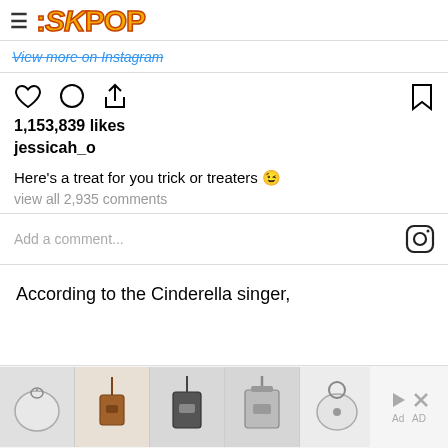SKPOP
View more on Instagram
1,153,839 likes
jessicah_o
Here's a treat for you trick or treaters 😊
view all 2,935 comments
Add a comment...
According to the Cinderella singer,
[Figure (screenshot): Advertisement banner showing 5 product images of bags/purses with play and close buttons]